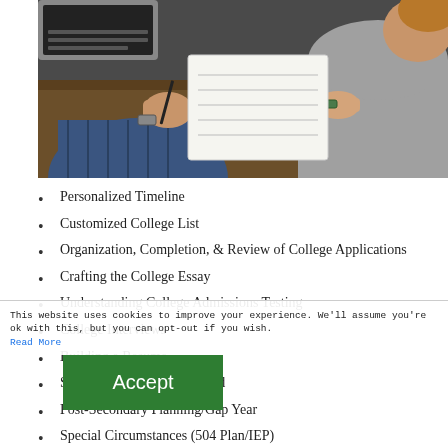[Figure (photo): Overhead view of two people at a table, one holding a pen and notepad, the other with a laptop nearby, collaborative meeting scene]
Personalized Timeline
Customized College List
Organization, Completion, & Review of College Applications
Crafting the College Essay
Understanding College Admissions Testing
College Interviews
Building a Resume
Scholarships & Financial Aid
Post-Secondary Planning/Gap Year
Special Circumstances (504 Plan/IEP)
Career Exploration
Student Athletes